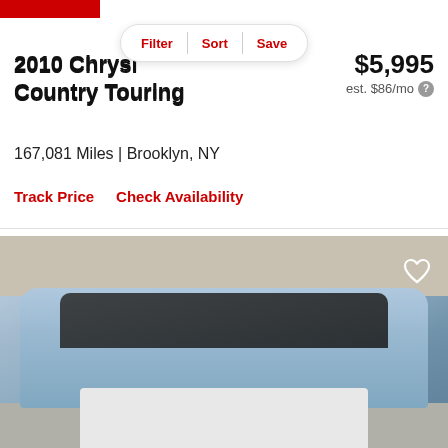[Figure (screenshot): Red banner/logo bar at top left corner of car listing page]
[Figure (other): Filter/Sort/Save pill navigation bar]
2010 Chrysler Town & Country Touring
$5,995
est. $86/mo
167,081 Miles | Brooklyn, NY
Track Price   Check Availability
[Figure (photo): Photo of a light blue 2010 Chrysler Town & Country Touring minivan parked on a street in Brooklyn, NY. Heart/save icon visible in upper right of photo.]